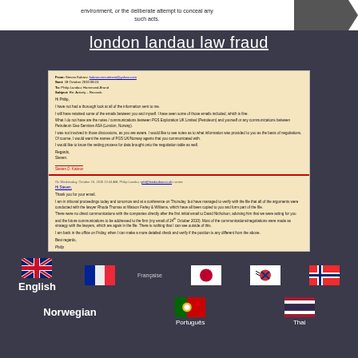[Figure (screenshot): Top banner with text about environment and concealing acts, with arrow graphic]
london landau law fraud
[Figure (screenshot): Email correspondence chain between Steven Kabrov and Philip Landau regarding records and PGS legal matters. Three email sections visible. First: From Steven Kabrov to Philip Landau dated 18 October 2010 regarding Activity Records. Second: Reply from Philip Landau dated Wednesday October 19 2010. Third: From Steven Kabrov to Philip Landau dated 19 October 2010 discussing PGS lawyers, David Nicholson, and settlement documentation.]
[Figure (screenshot): Language flags row: UK English flag, French flag with text, Japanese flag, Korean flag, Norwegian flag on top row; Norwegian label, Portuguese flag, Thai flag on bottom row]